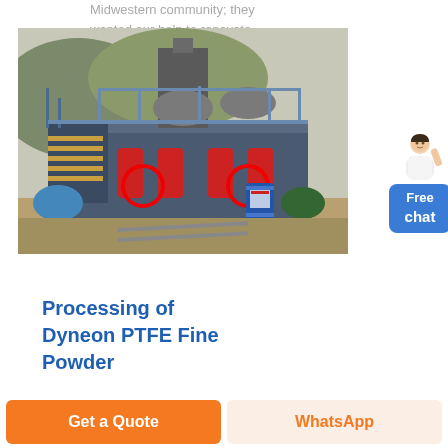Midwestern community; they wanted our help to renovate an automotive parts
[Figure (photo): Industrial machinery/mining equipment with blue steel structure, stairs, red cylindrical components with circular openings, a blue drum barrel, and motors on a concrete/dirt outdoor site.]
Free chat
Processing of Dyneon PTFE Fine Powder
Get a Quote
WhatsApp